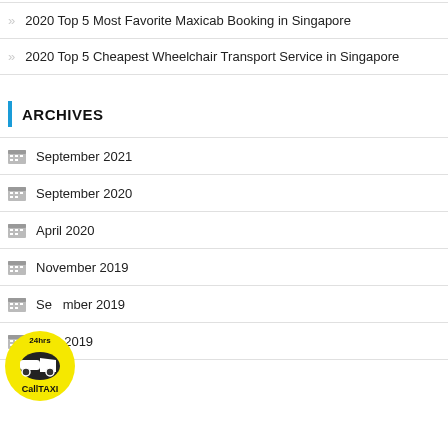2020 Top 5 Most Favorite Maxicab Booking in Singapore
2020 Top 5 Cheapest Wheelchair Transport Service in Singapore
ARCHIVES
September 2021
September 2020
April 2020
November 2019
September 2019
May 2019